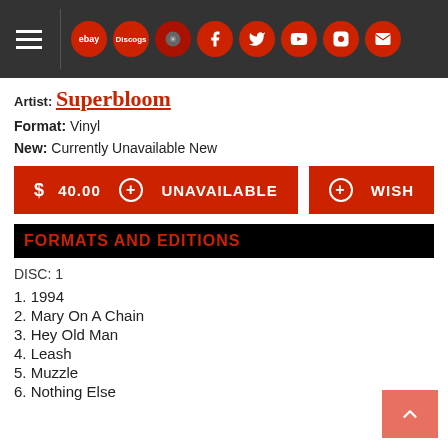Navigation bar with hamburger menu, eBay, Discogs, vinyl record, Facebook, Twitter, YouTube, Instagram, email icons
Artist: Superbloom
Format: Vinyl
New: Currently Unavailable New
$ 40.00  + UNAVAILABLE   + WISH
FORMATS AND EDITIONS
DISC: 1
1. 1994
2. Mary On A Chain
3. Hey Old Man
4. Leash
5. Muzzle
6. Nothing Else